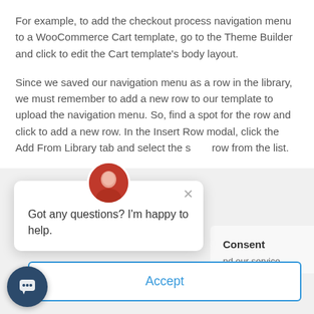For example, to add the checkout process navigation menu to a WooCommerce Cart template, go to the Theme Builder and click to edit the Cart template's body layout.
Since we saved our navigation menu as a row in the library, we must remember to add a new row to our template to upload the navigation menu. So, find a spot for the row and click to add a new row. In the Insert Row modal, click the Add From Library tab and select the s[…]row from the list.
[Figure (screenshot): Chat popup overlay with avatar photo, close button (×), and text 'Got any questions? I'm happy to help.']
Consent
nd our service.
Accept
[Figure (screenshot): Chat launcher button (dark blue circle with chat icon) at bottom left]